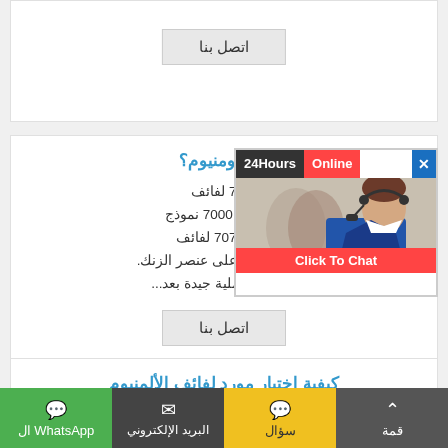اتصل بنا
ت 7000 سلسلة لفائف الالومنيوم؟
ألمنيوم هي مادة تصنيع شائعة، و 7 لفائف م سلسلة هي واحدة من النماذج. 7000 نموذج ممثل لفائف الألومنيوم سلسلة 7075 لفائف الالومنيوم، يحتوي بشكل رئيسي على عنصر الزنك. 7075 لفائف الألمنيوم خصائص عملية جيدة بعد...
اتصل بنا
[Figure (photo): Customer service representative with headset, live chat widget showing '24Hours Online' and 'Click To Chat' button]
كيفية اختيار مورد لفائف الألمنيوم
WhatsApp ال
البريد الإلكتروني
سؤال
قمة